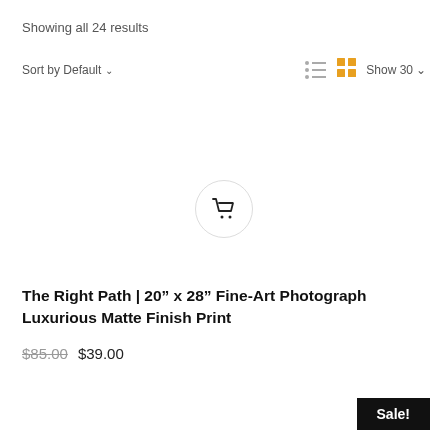Showing all 24 results
Sort by Default ∨
Show 30 ∨
[Figure (illustration): Shopping cart icon inside a light gray circle]
The Right Path | 20" x 28" Fine-Art Photograph Luxurious Matte Finish Print
$85.00 $39.00
Sale!